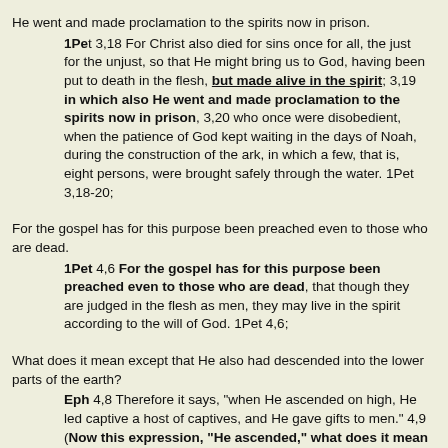He went and made proclamation to the spirits now in prison.
1Pet 3,18 For Christ also died for sins once for all, the just for the unjust, so that He might bring us to God, having been put to death in the flesh, but made alive in the spirit; 3,19 in which also He went and made proclamation to the spirits now in prison, 3,20 who once were disobedient, when the patience of God kept waiting in the days of Noah, during the construction of the ark, in which a few, that is, eight persons, were brought safely through the water. 1Pet 3,18-20;
For the gospel has for this purpose been preached even to those who are dead.
1Pet 4,6 For the gospel has for this purpose been preached even to those who are dead, that though they are judged in the flesh as men, they may live in the spirit according to the will of God. 1Pet 4,6;
What does it mean except that He also had descended into the lower parts of the earth?
Eph 4,8 Therefore it says, "when He ascended on high, He led captive a host of captives, and He gave gifts to men." 4,9 (Now this expression, "He ascended," what does it mean except that He also had descended into the lower